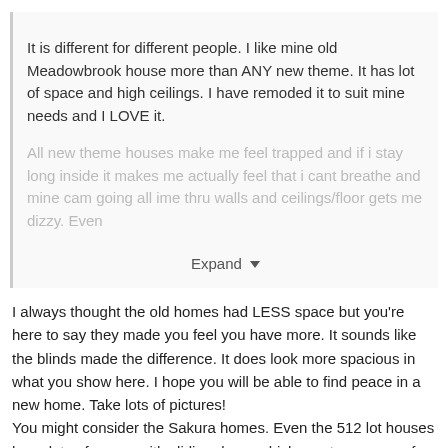It is different for different people. I like mine old Meadowbrook house more than ANY new theme. It has lot of space and high ceilings. I have remoded it to suit mine needs and I LOVE it.
All new theme houses make me feel trapped and if i stay long inside it makes me actually feel that i cant breathe and mine cam going all ime thru walls and ceilings/floor gets me dizzy. Even
Expand
I always thought the old homes had LESS space but you're here to say they made you feel you have more. It sounds like the blinds made the difference. It does look more spacious in what you show here. I hope you will be able to find peace in a new home. Take lots of pictures!
You might consider the Sakura homes. Even the 512 lot houses have lots of rooms with sliding doors which create a sense of "more house" than there is, and of security. You might like it. The landscaping is beautiful. I agree that by contrast with the old homes, the new Bellisseria landscaping is overstuffed. I could do with a little less of it, especially the butterflies. I literally abandon any house that has then right in the view.